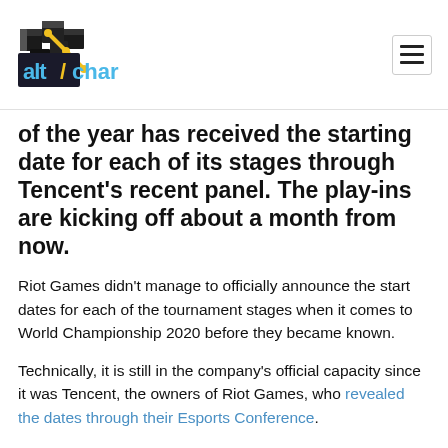AltChar logo and navigation menu
of the year has received the starting date for each of its stages through Tencent's recent panel. The play-ins are kicking off about a month from now.
Riot Games didn't manage to officially announce the start dates for each of the tournament stages when it comes to World Championship 2020 before they became known.
Technically, it is still in the company's official capacity since it was Tencent, the owners of Riot Games, who revealed the dates through their Esports Conference.
The major parts are broken down into six significant time windows: